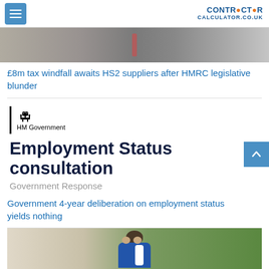CONTRACTOR CALCULATOR.CO.UK
[Figure (photo): Aerial or road/tunnel photo, partially visible at top of page]
£8m tax windfall awaits HS2 suppliers after HMRC legislative blunder
[Figure (screenshot): HM Government Employment Status consultation document cover showing crest, title 'Employment Status consultation' and subtitle 'Government Response']
Government 4-year deliberation on employment status yields nothing
[Figure (photo): Person in blue and white sports jersey with head in hands on a sports field]